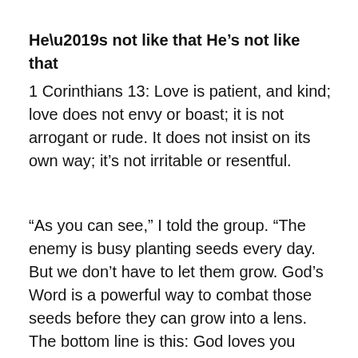He’s not like that
1 Corinthians 13: Love is patient, and kind; love does not envy or boast; it is not arrogant or rude. It does not insist on its own way; it’s not irritable or resentful.
“As you can see,” I told the group. “The enemy is busy planting seeds every day. But we don’t have to let them grow. God’s Word is a powerful way to combat those seeds before they can grow into a lens. The bottom line is this: God loves you better than you know. He completely accepts you as you